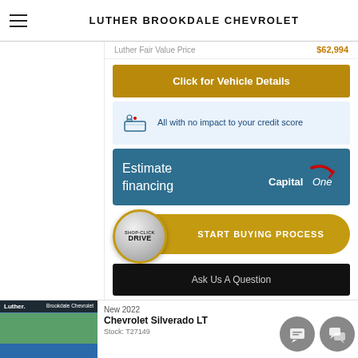LUTHER BROOKDALE CHEVROLET
Luther Fair Value Price $62,994
Click for Vehicle Details
All with no impact to your credit score
Estimate financing Capital One
Shop Click Drive START BUYING PROCESS
Ask Us A Question
New 2022 Chevrolet Silverado LT Stock: T27149